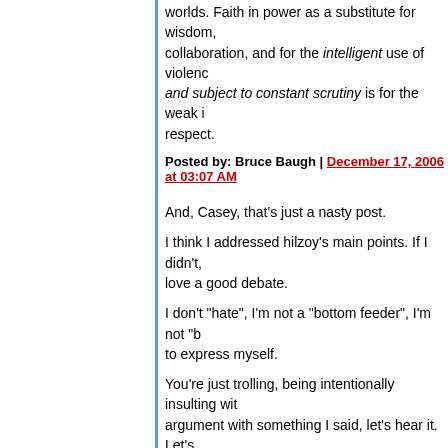worlds. Faith in power as a substitute for wisdom, collaboration, and for the intelligent use of violence and subject to constant scrutiny is for the weak i respect.
Posted by: Bruce Baugh | December 17, 2006 at 03:07 AM
And, Casey, that's just a nasty post.
I think I addressed hilzoy's main points. If I didn't, love a good debate.
I don't "hate", I'm not a "bottom feeder", I'm not "b to express myself.
You're just trolling, being intentionally insulting wit argument with something I said, let's hear it. Let's rather than the playground insults, OK?
And on preview, Bruce is going down the same ro his postulates, I am not a "real man".
You guys can do better than that. Tell me where I wrong. Leave the personal insults to dkos or whe
Posted by: thetruth | December 17, 2006 at 03:12 AM